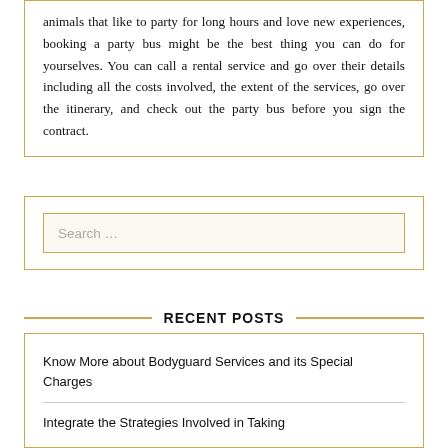animals that like to party for long hours and love new experiences, booking a party bus might be the best thing you can do for yourselves. You can call a rental service and go over their details including all the costs involved, the extent of the services, go over the itinerary, and check out the party bus before you sign the contract.
Search …
RECENT POSTS
Know More about Bodyguard Services and its Special Charges
Integrate the Strategies Involved in Taking